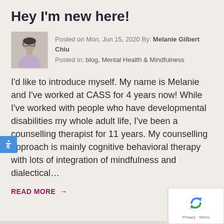Hey I'm new here!
Posted on Mon, Jun 15, 2020 By: Melanie Gilbert Chiu
Posted in: blog, Mental Health & Mindfulness
I'd like to introduce myself. My name is Melanie and I've worked at CASS for 4 years now! While I've worked with people who have developmental disabilities my whole adult life, I've been a counselling therapist for 11 years. My counselling approach is mainly cognitive behavioral therapy with lots of integration of mindfulness and dialectical…
READ MORE →